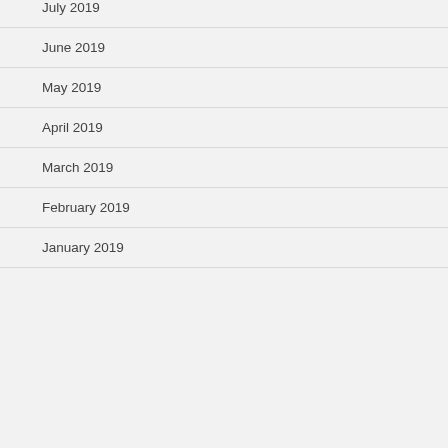July 2019
June 2019
May 2019
April 2019
March 2019
February 2019
January 2019